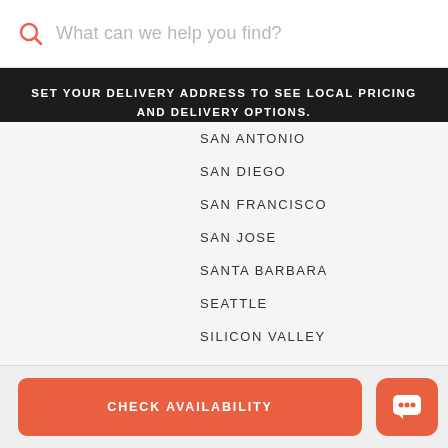[Figure (screenshot): Search bar with coral/salmon search icon and placeholder text 'What can we help you find?']
SET YOUR DELIVERY ADDRESS TO SEE LOCAL PRICING AND DELIVERY OPTIONS.
SAN ANTONIO
SAN DIEGO
SAN FRANCISCO
SAN JOSE
SANTA BARBARA
SEATTLE
SILICON VALLEY
SOUTH BAY LA
ST. LOUIS
CHECK AVAILABILITY